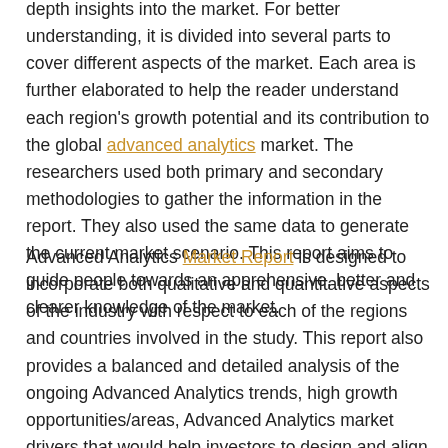depth insights into the market. For better understanding, it is divided into several parts to cover different aspects of the market. Each area is further elaborated to help the reader understand each region's growth potential and its contribution to the global advanced analytics market. The researchers used both primary and secondary methodologies to gather the information in the report. They also used the same data to generate the current market scenario. This report aims to guide people towards an apprehensive, better and clearer knowledge of the market.
Advanced Analytics Market Report is designed to incorporate both qualitative and quantitative aspects of the industry with respect to each of the regions and countries involved in the study. This report also provides a balanced and detailed analysis of the ongoing Advanced Analytics trends, high growth opportunities/areas, Advanced Analytics market drivers that would help investors to design and align their market strategies by depending on current and future market dynamics.